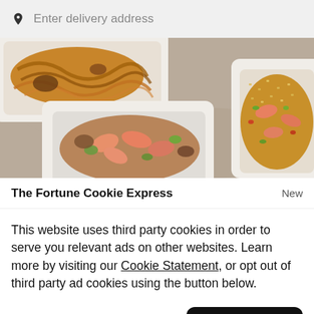Enter delivery address
[Figure (photo): Food delivery photo showing takeout containers with Chinese dishes: noodles, shrimp stir fry, and fried rice with shrimp on a stone surface]
The Fortune Cookie Express    New
This website uses third party cookies in order to serve you relevant ads on other websites. Learn more by visiting our Cookie Statement, or opt out of third party ad cookies using the button below.
Opt out   Got it